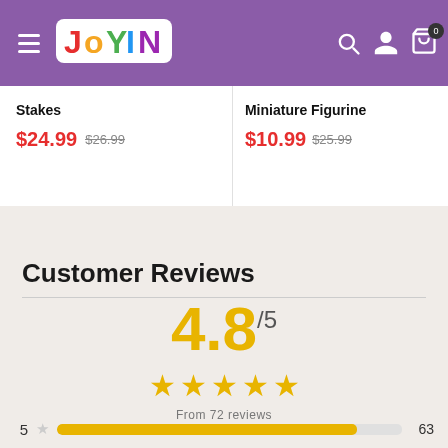[Figure (logo): Joyin toy brand logo with colorful letters on purple header navigation bar]
Stakes
$24.99  $26.99
Miniature Figurine
$10.99  $25.99
Customer Reviews
4.8/5
From 72 reviews
5 ★ 63